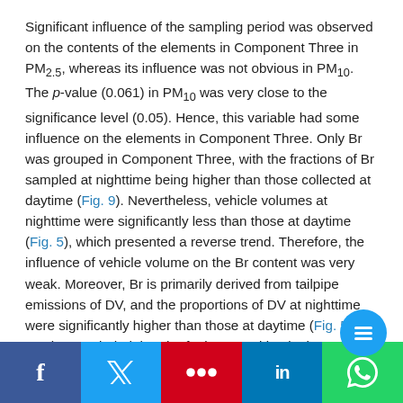Significant influence of the sampling period was observed on the contents of the elements in Component Three in PM2.5, whereas its influence was not obvious in PM10. The p-value (0.061) in PM10 was very close to the significance level (0.05). Hence, this variable had some influence on the elements in Component Three. Only Br was grouped in Component Three, with the fractions of Br sampled at nighttime being higher than those collected at daytime (Fig. 9). Nevertheless, vehicle volumes at nighttime were significantly less than those at daytime (Fig. 5), which presented a reverse trend. Therefore, the influence of vehicle volume on the Br content was very weak. Moreover, Br is primarily derived from tailpipe emissions of DV, and the proportions of DV at nighttime were significantly higher than those at daytime (Fig. 5). It can be concluded that the fuel composition in the t... was a major factor affecting the content of Br in th...
Social share bar: Facebook, Twitter, Mendeley, LinkedIn, WhatsApp